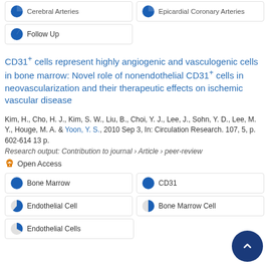Follow Up
CD31+ cells represent highly angiogenic and vasculogenic cells in bone marrow: Novel role of nonendothelial CD31+ cells in neovascularization and their therapeutic effects on ischemic vascular disease
Kim, H., Cho, H. J., Kim, S. W., Liu, B., Choi, Y. J., Lee, J., Sohn, Y. D., Lee, M. Y., Houge, M. A. & Yoon, Y. S., 2010 Sep 3, In: Circulation Research. 107, 5, p. 602-614 13 p.
Research output: Contribution to journal › Article › peer-review
Open Access
Bone Marrow
CD31
Endothelial Cell
Bone Marrow Cell
Endothelial Cells